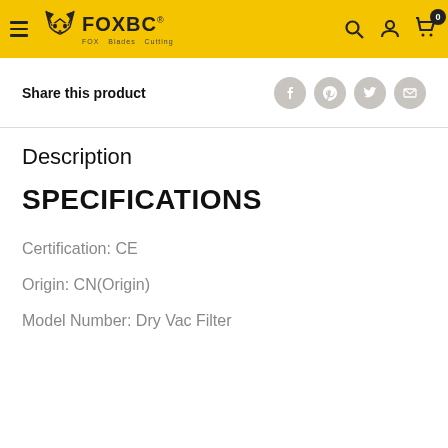FOXBC — FOX Blades Cutting — navigation header with search, account, and cart icons
Share this product
Description
SPECIFICATIONS
Certification: CE
Origin: CN(Origin)
Model Number: Dry Vac Filter